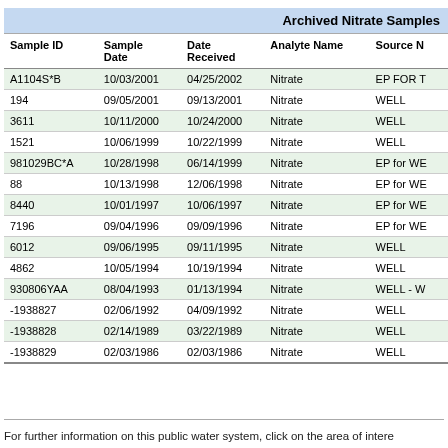| Sample ID | Sample Date | Date Received | Analyte Name | Source N |
| --- | --- | --- | --- | --- |
| A1104S*B | 10/03/2001 | 04/25/2002 | Nitrate | EP FOR T |
| 194 | 09/05/2001 | 09/13/2001 | Nitrate | WELL |
| 3611 | 10/11/2000 | 10/24/2000 | Nitrate | WELL |
| 1521 | 10/06/1999 | 10/22/1999 | Nitrate | WELL |
| 981029BC*A | 10/28/1998 | 06/14/1999 | Nitrate | EP for WE |
| 88 | 10/13/1998 | 12/06/1998 | Nitrate | EP for WE |
| 8440 | 10/01/1997 | 10/06/1997 | Nitrate | EP for WE |
| 7196 | 09/04/1996 | 09/09/1996 | Nitrate | EP for WE |
| 6012 | 09/06/1995 | 09/11/1995 | Nitrate | WELL |
| 4862 | 10/05/1994 | 10/19/1994 | Nitrate | WELL |
| 930806YAA | 08/04/1993 | 01/13/1994 | Nitrate | WELL - W |
| -1938827 | 02/06/1992 | 04/09/1992 | Nitrate | WELL |
| -1938828 | 02/14/1989 | 03/22/1989 | Nitrate | WELL |
| -1938829 | 02/03/1986 | 02/03/1986 | Nitrate | WELL |
For further information on this public water system, click on the area of interest